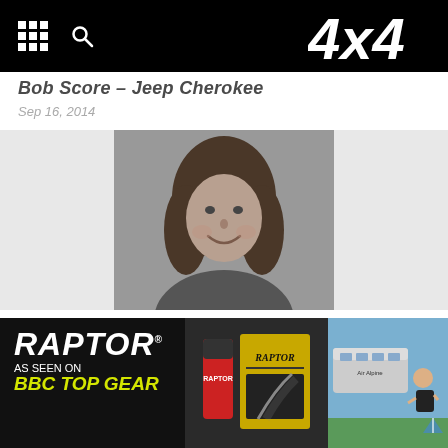4x4
Bob Score – Jeep Cherokee
Sep 16, 2014
[Figure (photo): Black and white photo of a woman smiling, cropped portrait style, centered on a light grey background card]
Subaru Forester 2.0D XC Premium
Sep 16, 2014
[Figure (photo): Advertisement banner for RAPTOR coating product, As Seen On BBC Top Gear, showing product cans and packaging on black background with yellow text, and a scene with a bus and person on right]